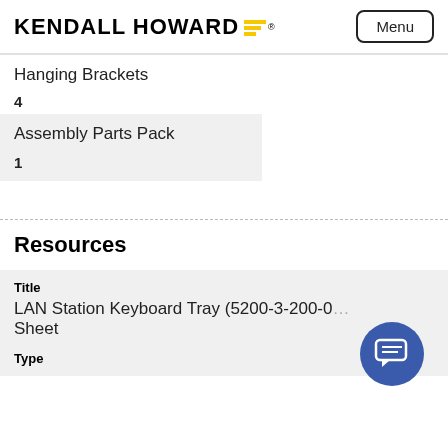KENDALL HOWARD
Hanging Brackets
4
Assembly Parts Pack
1
Resources
| Title | Type |
| --- | --- |
| LAN Station Keyboard Tray (5200-3-200-0... Sheet |  |